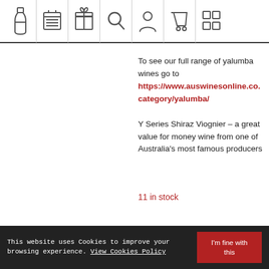[Figure (other): Navigation bar with icons: wine bottle, grid/calendar, gift box, search magnifier, person/account, shopping cart, list/menu]
To see our full range of yalumba wines go to https://www.auswinesonline.co.category/yalumba/
Y Series Shiraz Viognier – a great value for money wine from one of Australia's most famous producers
11 in stock
This website uses Cookies to improve your browsing experience. View Cookies Policy
I'm fine with this